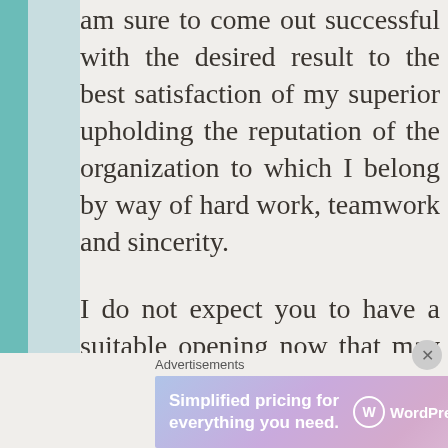am sure to come out successful with the desired result to the best satisfaction of my superior upholding the reputation of the organization to which I belong by way of hard work, teamwork and sincerity.

I do not expect you to have a suitable opening now that may fit my background given the present uncertain economic situation, but I would like you to remember me when there is a position in the
Advertisements
[Figure (infographic): WordPress.com advertisement banner with gradient purple/blue background. Text reads 'Simplified pricing for everything you need.' with WordPress.com logo on the right.]